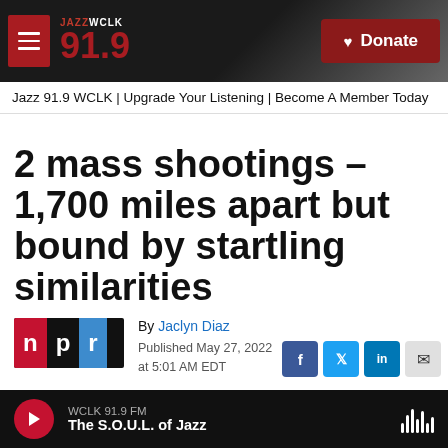JAZZ WCLK 91.9 | Donate
Jazz 91.9 WCLK | Upgrade Your Listening | Become A Member Today
2 mass shootings – 1,700 miles apart but bound by startling similarities
By Jaclyn Diaz
Published May 27, 2022 at 5:01 AM EDT
WCLK 91.9 FM — The S.O.U.L. of Jazz